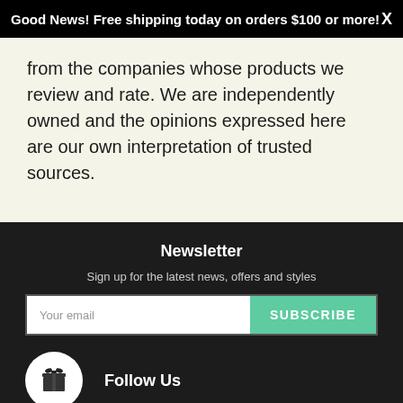Good News! Free shipping today on orders $100 or more! X
from the companies whose products we review and rate. We are independently owned and the opinions expressed here are our own interpretation of trusted sources.
Newsletter
Sign up for the latest news, offers and styles
Your email  SUBSCRIBE
Follow Us